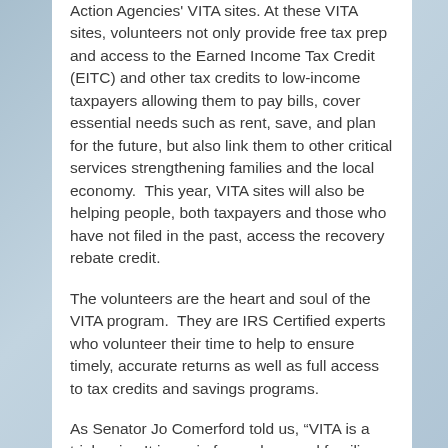Action Agencies' VITA sites. At these VITA sites, volunteers not only provide free tax prep and access to the Earned Income Tax Credit (EITC) and other tax credits to low-income taxpayers allowing them to pay bills, cover essential needs such as rent, save, and plan for the future, but also link them to other critical services strengthening families and the local economy.  This year, VITA sites will also be helping people, both taxpayers and those who have not filed in the past, access the recovery rebate credit.
The volunteers are the heart and soul of the VITA program.  They are IRS Certified experts who volunteer their time to help to ensure timely, accurate returns as well as full access to tax credits and savings programs.
As Senator Jo Comerford told us, “VITA is a triple win.  It is a win for workers and families returning...